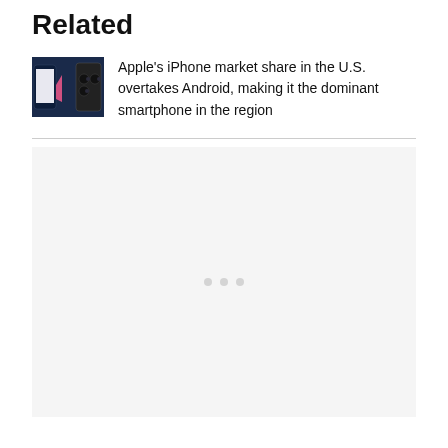Related
[Figure (photo): Thumbnail image showing two smartphones facing each other against a dark blue background, one with a pink case visible]
Apple's iPhone market share in the U.S. overtakes Android, making it the dominant smartphone in the region
[Figure (other): Advertisement placeholder block with light gray background and three dots indicating loading]